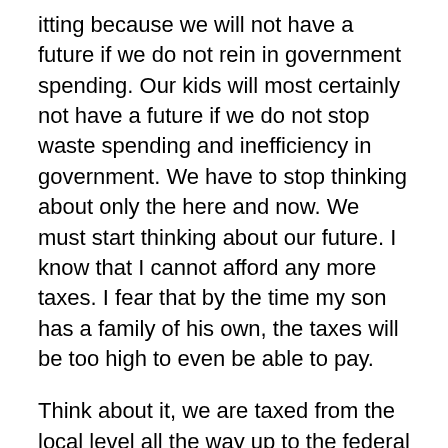itting because we will not have a future if we do not rein in government spending. Our kids will most certainly not have a future if we do not stop waste spending and inefficiency in government. We have to stop thinking about only the here and now. We must start thinking about our future. I know that I cannot afford any more taxes. I fear that by the time my son has a family of his own, the taxes will be too high to even be able to pay.
Think about it, we are taxed from the local level all the way up to the federal level. There is waste in school spending. They build million dollar stadiums instead of paying teachers. There is waste in county spending. I live in Hardin County and taxes were just raised in order to pay for new Chevy Tahoes and pay raises. The Federal government forces us to buy healthcare or face a penalty. Even if we do get healthcare, the prices have skyrocketed so we are all paying more now.
We have to start cutting pork spending on all levels of